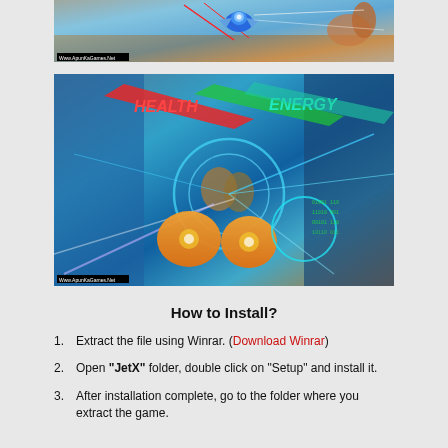[Figure (screenshot): Game screenshot showing a blue robot/drone character with red laser beams, set against a colorful background. Watermark 'Www.ApunKaGames.Net' in bottom left.]
[Figure (screenshot): Game screenshot showing VR/game interface with HEALTH and ENERGY bars, orange controller devices with glowing effects, blue energy beams. Watermark 'Www.ApunKaGames.Net' in bottom left.]
How to Install?
Extract the file using Winrar. (Download Winrar)
Open “JetX” folder, double click on “Setup” and install it.
After installation complete, go to the folder where you extract the game.